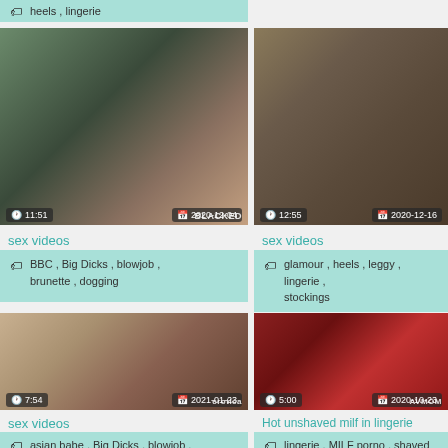heels , lingerie
[Figure (photo): Video thumbnail showing woman in black lace lingerie, duration 11:51, date 2020-12-04, watermark BLACKED]
sex videos
BBC , Big Dicks , blowjob , brunette , dogging
[Figure (photo): Video thumbnail showing blonde woman and man in bar setting, duration 12:55, date 2020-12-16]
sex videos
glamour , heels , leggy , lingerie , stockings
[Figure (photo): Video thumbnail showing brunette woman closeup, duration 7:54, date 2021-01-23, watermark erotica]
sex videos
asian babe , Big Dicks , blowjob ,
[Figure (photo): Video thumbnail showing woman in red lace lingerie, duration 5:00, date 2020-10-23, watermark AVMOM]
Hot unshaved milf in lingerie
lingerie , MILF porno , shaved